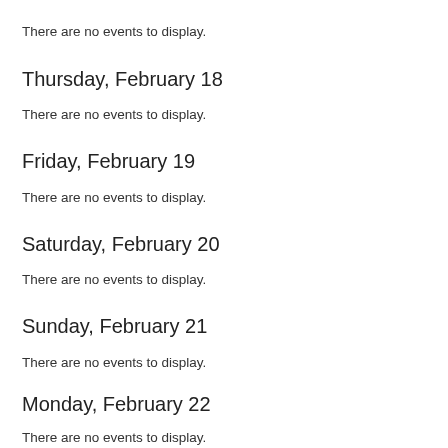There are no events to display.
Thursday, February 18
There are no events to display.
Friday, February 19
There are no events to display.
Saturday, February 20
There are no events to display.
Sunday, February 21
There are no events to display.
Monday, February 22
There are no events to display.